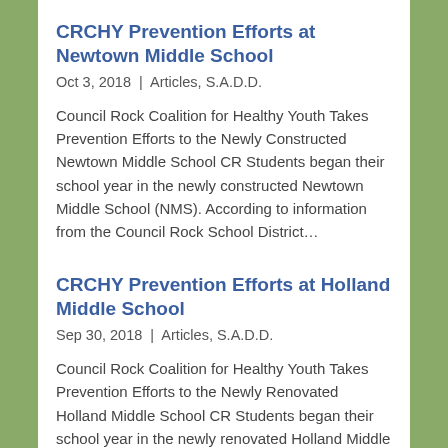CRCHY Prevention Efforts at Newtown Middle School
Oct 3, 2018 | Articles, S.A.D.D.
Council Rock Coalition for Healthy Youth Takes Prevention Efforts to the Newly Constructed Newtown Middle School CR Students began their school year in the newly constructed Newtown Middle School (NMS). According to information from the Council Rock School District…
CRCHY Prevention Efforts at Holland Middle School
Sep 30, 2018 | Articles, S.A.D.D.
Council Rock Coalition for Healthy Youth Takes Prevention Efforts to the Newly Renovated Holland Middle School CR Students began their school year in the newly renovated Holland Middle School (HMS). According to information from the Council Rock School